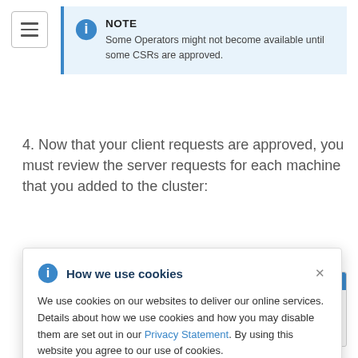[Figure (screenshot): Hamburger/menu icon button top-left corner]
NOTE
Some Operators might not become available until some CSRs are approved.
4. Now that your client requests are approved, you must review the server requests for each machine that you added to the cluster:
[Figure (screenshot): Screenshot area showing a web UI with a blue top bar, copy icons, and server hostnames ip-10-0-50-1, ip-10-0-95-1 visible at bottom right]
How we use cookies
We use cookies on our websites to deliver our online services. Details about how we use cookies and how you may disable them are set out in our Privacy Statement. By using this website you agree to our use of cookies.